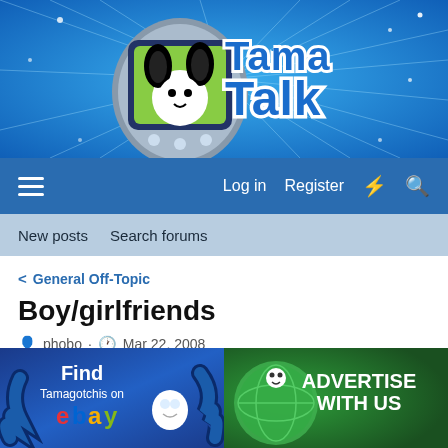[Figure (logo): TamaTalk forum header banner with blue starburst background, Tamagotchi device image on left and TamaTalk logo text on right]
≡  Log in  Register  ⚡  🔍
New posts  Search forums
< General Off-Topic
Boy/girlfriends
phobo · Mar 22, 2008
[Figure (infographic): Two advertisement banners: left ad shows Find Tamagotchis on eBay with illustrated characters, right ad shows ADVERTISE WITH US with green globe illustration]